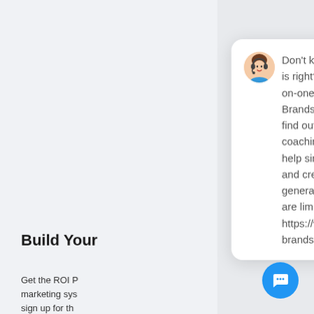Build Your
Get the ROI P... marketing sys... sign up for th... together to cr... Business Gro...
[Figure (screenshot): Chat popup widget showing a support agent avatar and a message about StoryBrand Brandscript coaching, with a blue chat button in the bottom right corner.]
Don't know if your message is right? Get real-time one-on-one StoryBrand Brandscript coaching and find out. Schedule your coaching sessions today to help simplify your messaging and create a sales-generating machine. Spots are limited. https://www.roionline.com/roi-brandscript-tuneup